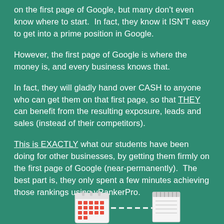on the first page of Google, but many don't even know where to start.  In fact, they know it ISN'T easy to get into a prime position in Google.
However, the first page of Google is where the money is, and every business knows that.
In fact, they will gladly hand over CASH to anyone who can get them on that first page, so that THEY can benefit from the resulting exposure, leads and sales (instead of their competitors).
This is EXACTLY what our students have been doing for other businesses, by getting them firmly on the first page of Google (near-permanently).  The best part is, they only spent a few minutes achieving those rankings using vRankerPro.
[Figure (illustration): Illustration showing a calendar icon connected by a dashed line to a notepad icon at the bottom of the page]